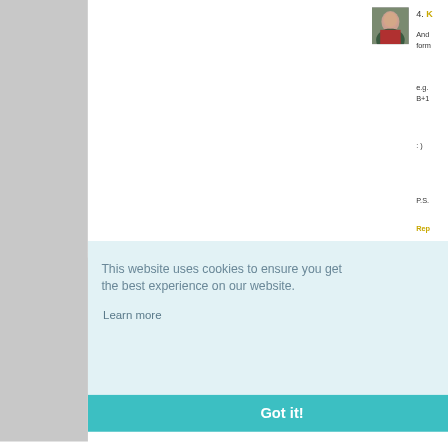[Figure (photo): Avatar photo of a woman in a red jacket outdoors]
4. K
And form
e.g. B+1
: )
P.S.
Rep
5. R
Thi The link
Rep
This website uses cookies to ensure you get the best experience on our website.
Learn more
Got it!